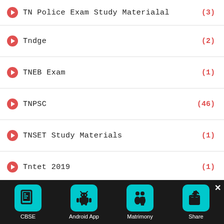TN Police Exam Study Materialal (3)
Tndge (2)
TNEB Exam (1)
TNPSC (46)
TNSET Study Materials (1)
Tntet 2019 (1)
Tntet Exam 2017 (5)
Toppers Answer Sheets (2)
Transfer Counselling (2)
Trb (1)
TRB No... (22)
[Figure (screenshot): Bottom toolbar with CBSE, Android App, Matrimony, Share buttons on dark background]